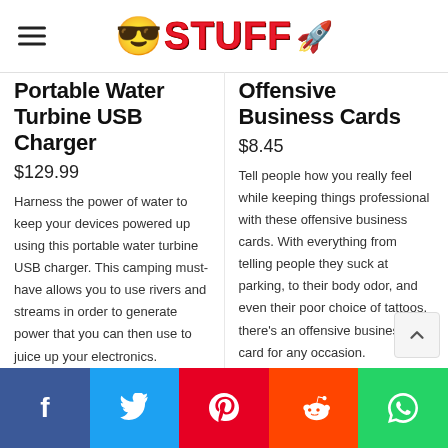STUFF
Portable Water Turbine USB Charger
$129.99
Harness the power of water to keep your devices powered up using this portable water turbine USB charger. This camping must-have allows you to use rivers and streams in order to generate power that you can then use to juice up your electronics.
CHECK IT OUT
Offensive Business Cards
$8.45
Tell people how you really feel while keeping things professional with these offensive business cards. With everything from telling people they suck at parking, to their body odor, and even their poor choice of tattoos, there’s an offensive business card for any occasion.
CHECK IT OUT
Facebook Twitter Pinterest Reddit WhatsApp